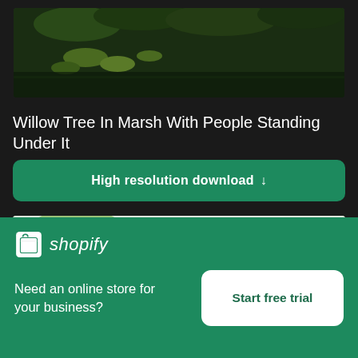[Figure (photo): Top portion of a willow tree in marsh photo — dark green foliage, lily pads, dark water]
Willow Tree In Marsh With People Standing Under It
[Figure (other): Green download button labeled 'High resolution download' with down arrow]
[Figure (photo): Second photo showing blurred outdoor scene with green trees and dark camera/equipment silhouette on right]
[Figure (other): Shopify advertisement banner: logo, 'Need an online store for your business?' and 'Start free trial' button]